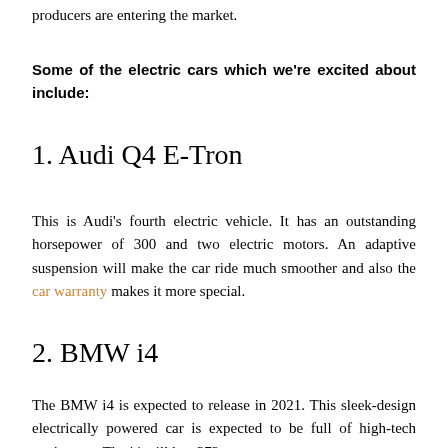producers are entering the market.
Some of the electric cars which we're excited about include:
1. Audi Q4 E-Tron
This is Audi's fourth electric vehicle. It has an outstanding horsepower of 300 and two electric motors. An adaptive suspension will make the car ride much smoother and also the car warranty makes it more special.
2. BMW i4
The BMW i4 is expected to release in 2021. This sleek-design electrically powered car is expected to be full of high-tech equipment. The i4 will last 372